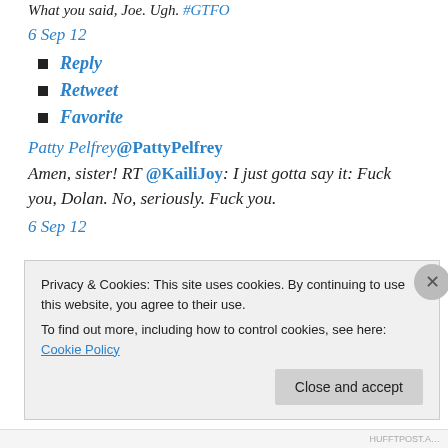What you said, Joe. Ugh. #GTFO
6 Sep 12
Reply
Retweet
Favorite
Patty Pelfrey@PattyPelfrey
Amen, sister! RT @KailiJoy: I just gotta say it: Fuck you, Dolan. No, seriously. Fuck you.
6 Sep 12
Privacy & Cookies: This site uses cookies. By continuing to use this website, you agree to their use. To find out more, including how to control cookies, see here: Cookie Policy
Close and accept